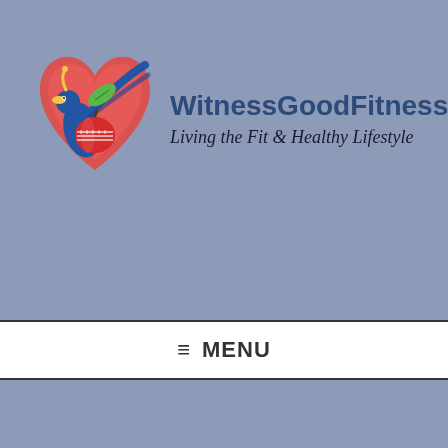[Figure (logo): WitnessGoodFitness logo with a peacock-like figure, heart, apple, and leaf in red, blue, green and orange colors]
WitnessGoodFitness
Living the Fit & Healthy Lifestyle
≡ MENU
You are here: Home / Archives for Fitness / Articles